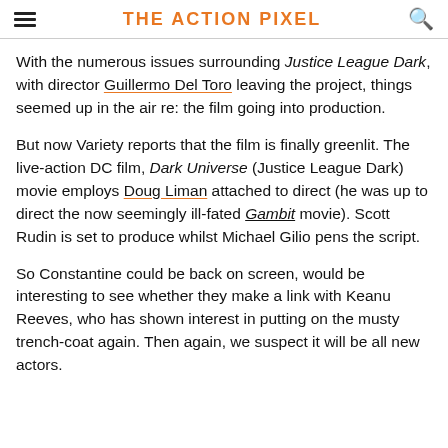THE ACTION PIXEL
With the numerous issues surrounding Justice League Dark, with director Guillermo Del Toro leaving the project, things seemed up in the air re: the film going into production.
But now Variety reports that the film is finally greenlit. The live-action DC film, Dark Universe (Justice League Dark) movie employs Doug Liman attached to direct (he was up to direct the now seemingly ill-fated Gambit movie). Scott Rudin is set to produce whilst Michael Gilio pens the script.
So Constantine could be back on screen, would be interesting to see whether they make a link with Keanu Reeves, who has shown interest in putting on the musty trench-coat again. Then again, we suspect it will be all new actors.